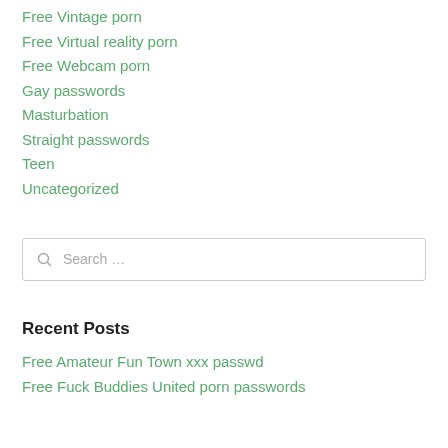Free Vintage porn
Free Virtual reality porn
Free Webcam porn
Gay passwords
Masturbation
Straight passwords
Teen
Uncategorized
Search …
Recent Posts
Free Amateur Fun Town xxx passwd
Free Fuck Buddies United porn passwords